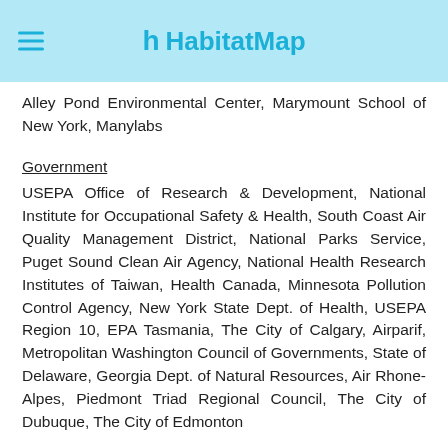HabitatMap
Alley Pond Environmental Center, Marymount School of New York, Manylabs
Government
USEPA Office of Research & Development, National Institute for Occupational Safety & Health, South Coast Air Quality Management District, National Parks Service, Puget Sound Clean Air Agency, National Health Research Institutes of Taiwan, Health Canada, Minnesota Pollution Control Agency, New York State Dept. of Health, USEPA Region 10, EPA Tasmania, The City of Calgary, Airparif, Metropolitan Washington Council of Governments, State of Delaware, Georgia Dept. of Natural Resources, Air Rhone-Alpes, Piedmont Triad Regional Council, The City of Dubuque, The City of Edmonton